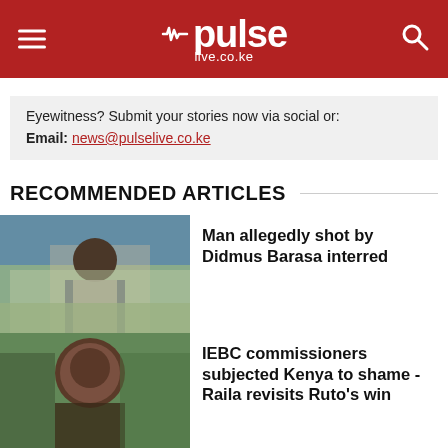pulse live.co.ke
Eyewitness? Submit your stories now via social or:
Email: news@pulselive.co.ke
RECOMMENDED ARTICLES
[Figure (photo): Man in checkered shirt at an outdoor gathering with crowd in background]
Man allegedly shot by Didmus Barasa interred
[Figure (photo): Close-up of an elderly man outdoors with palm leaves in background]
IEBC commissioners subjected Kenya to shame - Raila revisits Ruto's win